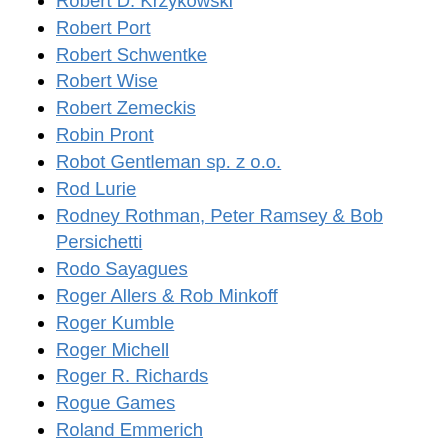Robert D. Krzykowski
Robert Port
Robert Schwentke
Robert Wise
Robert Zemeckis
Robin Pront
Robot Gentleman sp. z o.o.
Rod Lurie
Rodney Rothman, Peter Ramsey & Bob Persichetti
Rodo Sayagues
Roger Allers & Rob Minkoff
Roger Kumble
Roger Michell
Roger R. Richards
Rogue Games
Roland Emmerich
Role Playing
Romance